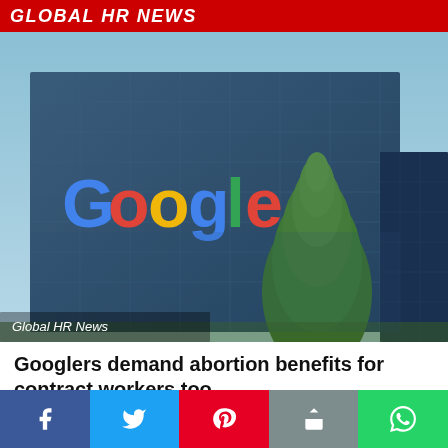GLOBAL HR NEWS
[Figure (photo): Google office building exterior with Google logo on glass facade, tall evergreen tree in foreground, blue sky background. Watermark text 'Global HR News' in lower left.]
Googlers demand abortion benefits for contract workers too
HRK News Bureau  August 19, 2022  0